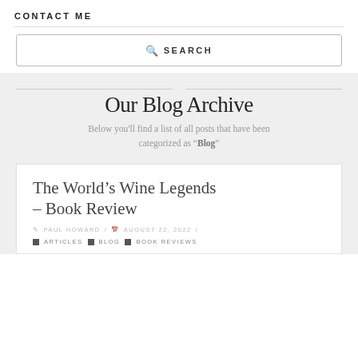CONTACT ME
[Figure (screenshot): Search box with magnifying glass icon and the word SEARCH in spaced capitals]
Our Blog Archive
Below you'll find a list of all posts that have been categorized as "Blog"
The World's Wine Legends – Book Review
PAUL HOWARD / AUGUST 22, 2022 /
ARTICLES BLOG BOOK REVIEWS